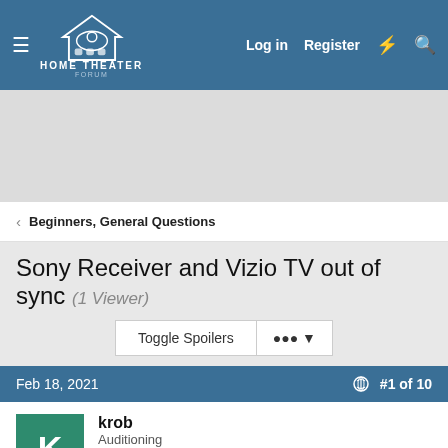HOME THEATER FORUM — Log in  Register
[Figure (screenshot): Gray advertisement placeholder area]
< Beginners, General Questions
Sony Receiver and Vizio TV out of sync (1 Viewer)
Toggle Spoilers  ··· ▼
Feb 18, 2021   #1 of 10
krob
Auditioning
I have a Sony STR-DE997 7.1 receiver and a older 70' Vizio LED E700i-B3, connected via Digital optical cable. I